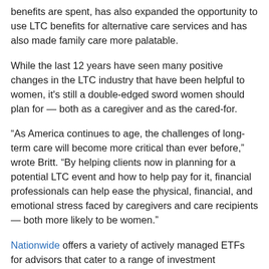benefits are spent, has also expanded the opportunity to use LTC benefits for alternative care services and has also made family care more palatable.
While the last 12 years have seen many positive changes in the LTC industry that have been helpful to women, it's still a double-edged sword women should plan for — both as a caregiver and as the cared-for.
“As America continues to age, the challenges of long-term care will become more critical than ever before,” wrote Britt. “By helping clients now in planning for a potential LTC event and how to help pay for it, financial professionals can help ease the physical, financial, and emotional stress faced by caregivers and care recipients — both more likely to be women.”
Nationwide offers a variety of actively managed ETFs for advisors that cater to a range of investment exposures and strategies for those seeking retirement income options for their clients as part of their bigger retirement planning pictures.